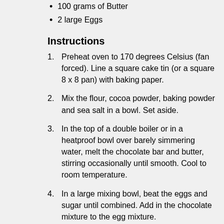100 grams of Butter
2 large Eggs
Instructions
1. Preheat oven to 170 degrees Celsius (fan forced). Line a square cake tin (or a square 8 x 8 pan) with baking paper.
2. Mix the flour, cocoa powder, baking powder and sea salt in a bowl. Set aside.
3. In the top of a double boiler or in a heatproof bowl over barely simmering water, melt the chocolate bar and butter, stirring occasionally until smooth. Cool to room temperature.
4. In a large mixing bowl, beat the eggs and sugar until combined. Add in the chocolate mixture to the egg mixture.
5. Gently add in the flour mixture into the chocolate-egg mixture and combine thoroughly. Add in the chocolate chips.
6. Pour the batter into the cake tin and bake for 45 - 50 minutes or until a wooden skewer comes out clean.
7. Remove from oven and let cool in cake tin for 5